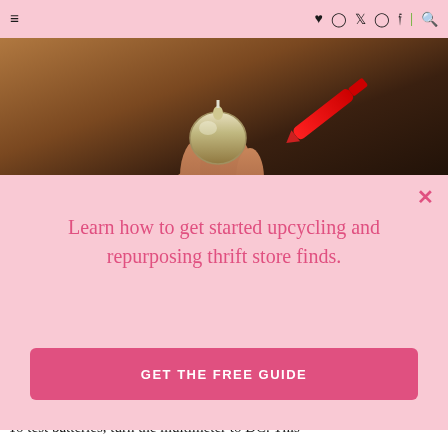≡  ♥  Instagram  Twitter  Pinterest  Facebook  |  Search
[Figure (photo): Close-up photo of a hand holding a small round battery or light bulb base, with a red multimeter probe touching it, against a dark background.]
Learn how to get started upcycling and repurposing thrift store finds.
GET THE FREE GUIDE
To test batteries, turn the multimeter to DC. This